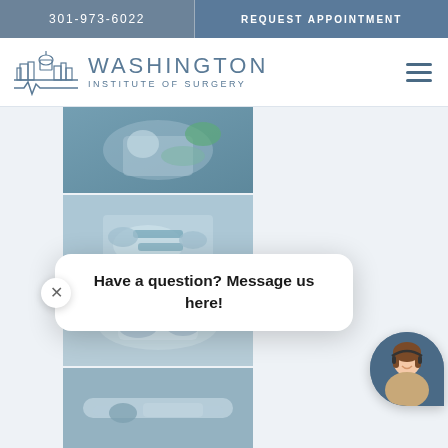301-973-6022  |  REQUEST APPOINTMENT
[Figure (logo): Washington Institute of Surgery logo with DC skyline illustration and heartbeat line]
[Figure (photo): Medical/surgical scene showing surgeons performing an operation - panel 1]
[Figure (photo): Medical/surgical scene showing surgeons performing an operation - panel 2]
[Figure (photo): Medical/surgical scene - panel 3]
[Figure (photo): Medical/surgical scene - panel 4]
Have a question? Message us here!